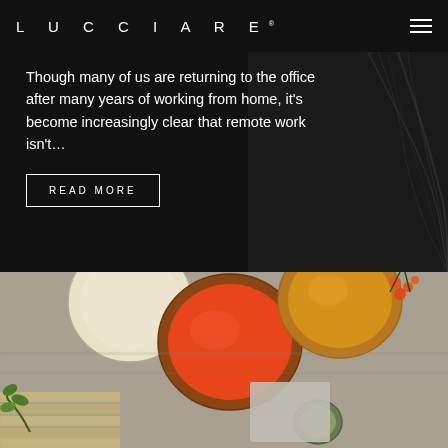LUCCIARE®
Though many of us are returning to the office after many years of working from home, it's become increasingly clear that remote work isn't…
READ MORE
[Figure (photo): Overhead flat-lay photo of paint color swatches in circular lids (cream, orange, golden yellow) and a small sage green dish, arranged on a grey linen surface with wood pieces and decorative plant sprigs.]